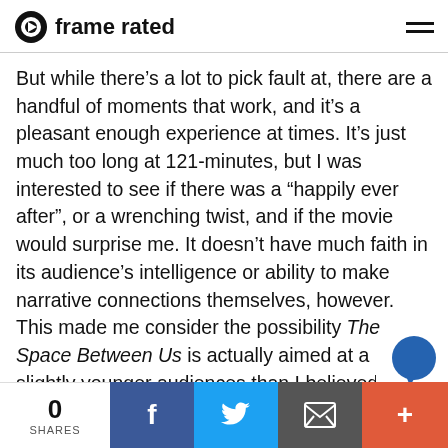frame rated
But while there’s a lot to pick fault at, there are a handful of moments that work, and it’s a pleasant enough experience at times. It’s just much too long at 121-minutes, but I was interested to see if there was a “happily ever after”, or a wrenching twist, and if the movie would surprise me. It doesn’t have much faith in its audience’s intelligence or ability to make narrative connections themselves, however. This made me consider the possibility The Space Between Us is actually aimed at a slightly younger audiences than I believed it was—maybe 12-year-olds, not 17-year-olds? That may explain the wholesome to
0 SHARES | Facebook | Twitter | Email | +